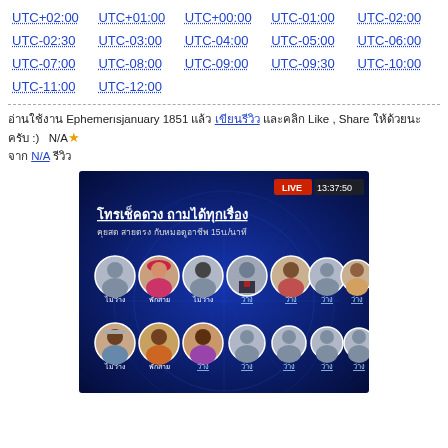UTC+02:00
UTC+01:00
UTC+00:00
UTC-01:00
UTC-02:00
UTC-02:30
UTC-03:00
UTC-04:00
UTC-05:00
UTC-06:00
UTC-07:00
UTC-08:00
UTC-09:00
UTC-09:30
UTC-10:00
UTC-11:00
UTC-12:00
อ่านใช้งาน Ephemerısjanuary 1851 แล้ว เขียนรีวิว และคลิก Like , Share ให้ด้วยนะครับ :)  N/A★ จาก N/A รีวิว
[Figure (screenshot): Live streaming screenshot with Thai text showing astrology fortune-telling service with profile photos of fortune tellers, LIVE badge, timestamp 13:37:50]